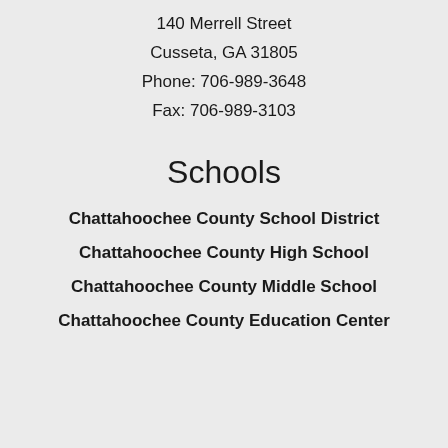140 Merrell Street
Cusseta, GA 31805
Phone: 706-989-3648
Fax: 706-989-3103
Schools
Chattahoochee County School District
Chattahoochee County High School
Chattahoochee County Middle School
Chattahoochee County Education Center